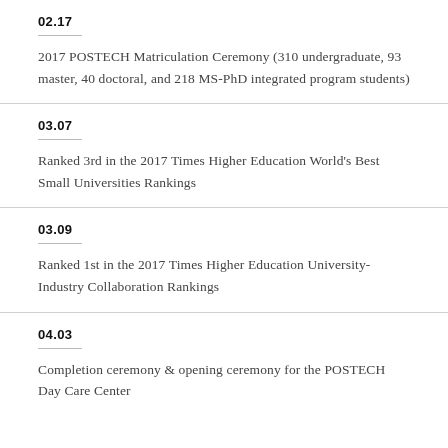02.17
2017 POSTECH Matriculation Ceremony (310 undergraduate, 93 master, 40 doctoral, and 218 MS-PhD integrated program students)
03.07
Ranked 3rd in the 2017 Times Higher Education World's Best Small Universities Rankings
03.09
Ranked 1st in the 2017 Times Higher Education University-Industry Collaboration Rankings
04.03
Completion ceremony & opening ceremony for the POSTECH Day Care Center